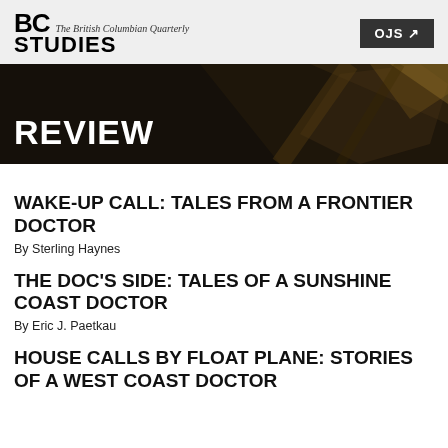BC STUDIES The British Columbian Quarterly | OJS ↗
[Figure (photo): Dark abstract hero banner image with the text REVIEW in white bold letters on the left]
WAKE-UP CALL: TALES FROM A FRONTIER DOCTOR
By Sterling Haynes
THE DOC'S SIDE: TALES OF A SUNSHINE COAST DOCTOR
By Eric J. Paetkau
HOUSE CALLS BY FLOAT PLANE: STORIES OF A WEST COAST DOCTOR